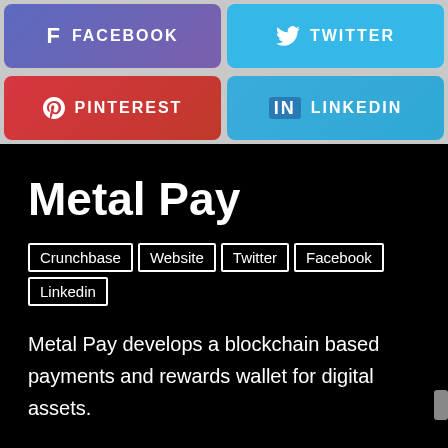[Figure (infographic): Social media share buttons row 1: Facebook (purple-blue gradient) and Twitter (light blue), row 2: Pinterest (red) and LinkedIn (blue)]
Metal Pay
Crunchbase  Website  Twitter  Facebook  Linkedin
Metal Pay develops a blockchain based payments and rewards wallet for digital assets.